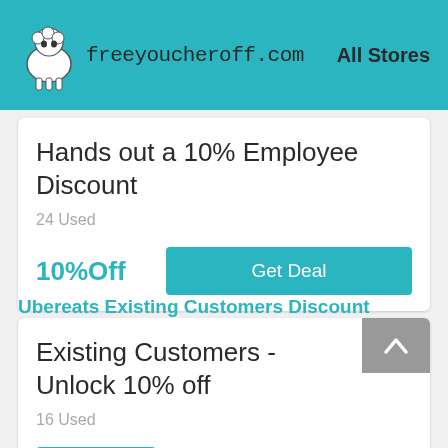freeyoucheroff.com | All Stores
Hands out a 10% Employee Discount
24 Used
10%Off
Get Deal
Ubereats Existing Customers Discount
Existing Customers - Unlock 10% off
16 Used